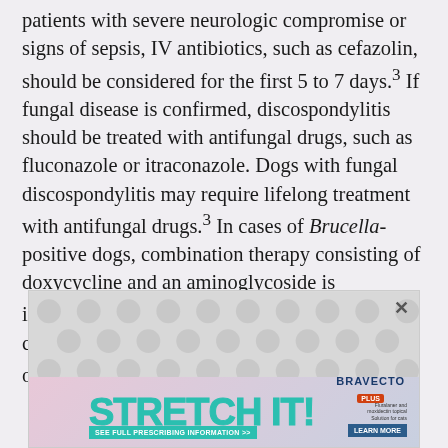patients with severe neurologic compromise or signs of sepsis, IV antibiotics, such as cefazolin, should be considered for the first 5 to 7 days.³ If fungal disease is confirmed, discospondylitis should be treated with antifungal drugs, such as fluconazole or itraconazole. Dogs with fungal discospondylitis may require lifelong treatment with antifungal drugs.³ In cases of Brucella-positive dogs, combination therapy consisting of doxycycline and an aminoglycoside is indicated.⁵ Corticosteroids are generally contraindicated because of possible impairment of the immune system.³
[Figure (photo): Advertisement banner for Bravecto Plus with stretching cat graphic, 'Stretch It!' text in teal, and call-to-action buttons]